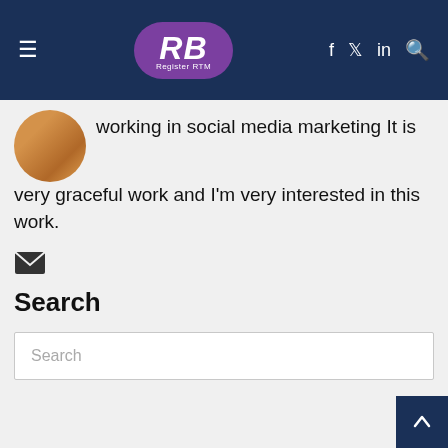RB RegisterRTM — navigation header with hamburger menu, logo, and social icons (f, twitter, in, search)
[Figure (photo): Circular avatar photo of a person, partially visible at the top-left of the content area]
working in social media marketing It is very graceful work and I'm very interested in this work.
[Figure (other): Email/mail envelope icon]
Search
Search